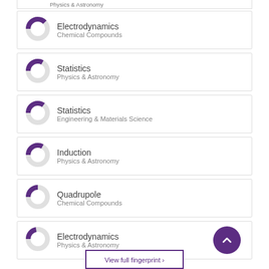Physics & Astronomy
Electrodynamics — Chemical Compounds
Statistics — Physics & Astronomy
Statistics — Engineering & Materials Science
Induction — Physics & Astronomy
Quadrupole — Chemical Compounds
Electrodynamics — Physics & Astronomy
View full fingerprint >